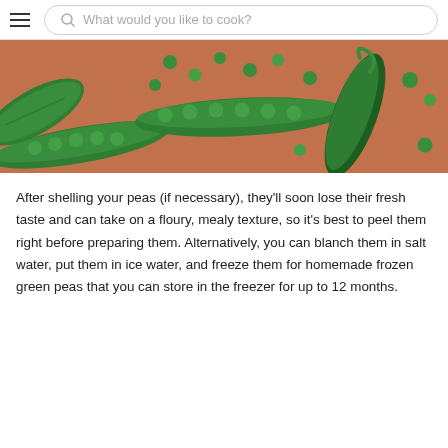What would you like to cook?
[Figure (photo): Overhead photo of green peas and open pea pods on an orange-brown background]
After shelling your peas (if necessary), they'll soon lose their fresh taste and can take on a floury, mealy texture, so it's best to peel them right before preparing them. Alternatively, you can blanch them in salt water, put them in ice water, and freeze them for homemade frozen green peas that you can store in the freezer for up to 12 months.